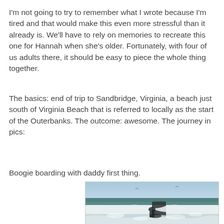I'm not going to try to remember what I wrote because I'm tired and that would make this even more stressful than it already is. We'll have to rely on memories to recreate this one for Hannah when she's older. Fortunately, with four of us adults there, it should be easy to piece the whole thing together.
The basics: end of trip to Sandbridge, Virginia, a beach just south of Virginia Beach that is referred to locally as the start of the Outerbanks. The outcome: awesome. The journey in pics:
Boogie boarding with daddy first thing.
[Figure (photo): A child and adult boogie boarding together in ocean waves at a beach. Waves and white surf surround them. Sky and distant water line visible in background.]